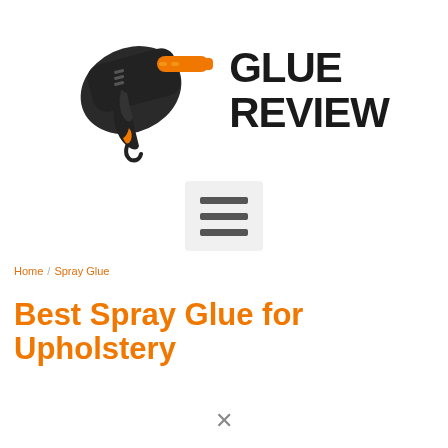[Figure (logo): Glue Review logo: cartoon glue gun in black and orange pointing right, beside bold black text reading GLUE REVIEW in two lines]
[Figure (other): Hamburger menu icon: three horizontal dark grey bars on a light grey rounded rectangle background]
Home / Spray Glue
Best Spray Glue for Upholstery